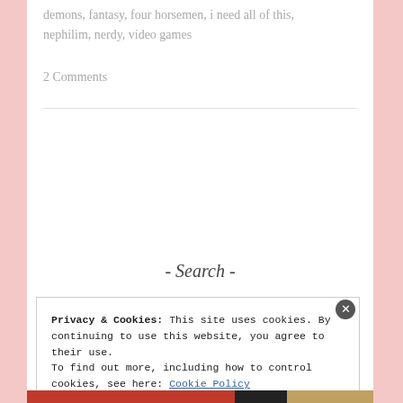demons, fantasy, four horsemen, i need all of this, nephilim, nerdy, video games
2 Comments
OLDER POSTS
- Search -
Privacy & Cookies: This site uses cookies. By continuing to use this website, you agree to their use.
To find out more, including how to control cookies, see here: Cookie Policy
Close and accept